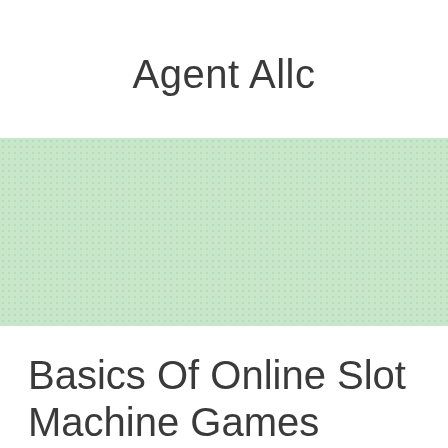Agent Allc
[Figure (other): Light green dotted/textured rectangular background block]
Basics Of Online Slot Machine Games